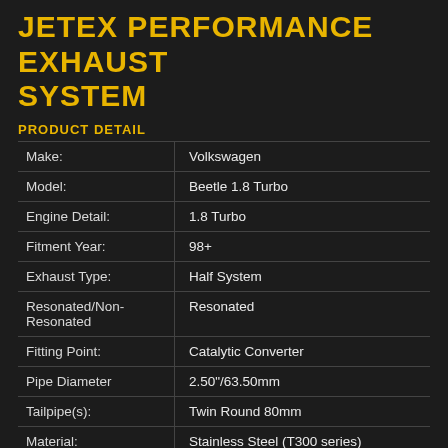JETEX PERFORMANCE EXHAUST SYSTEM
PRODUCT DETAIL
| Field | Value |
| --- | --- |
| Make: | Volkswagen |
| Model: | Beetle 1.8 Turbo |
| Engine Detail: | 1.8 Turbo |
| Fitment Year: | 98+ |
| Exhaust Type: | Half System |
| Resonated/Non-Resonated | Resonated |
| Fitting Point: | Catalytic Converter |
| Pipe Diameter | 2.50"/63.50mm |
| Tailpipe(s): | Twin Round 80mm |
| Material: | Stainless Steel (T300 series) |
| EC Approval | Yes |
|  |  |